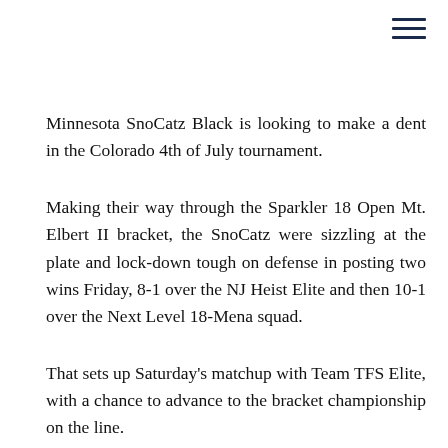Minnesota SnoCatz Black is looking to make a dent in the Colorado 4th of July tournament.
Making their way through the Sparkler 18 Open Mt. Elbert II bracket, the SnoCatz were sizzling at the plate and lock-down tough on defense in posting two wins Friday, 8-1 over the NJ Heist Elite and then 10-1 over the Next Level 18-Mena squad.
That sets up Saturday's matchup with Team TFS Elite, with a chance to advance to the bracket championship on the line.
“This was a continuation - I’ve had this team for five years now, and we’ve kept the core together. They